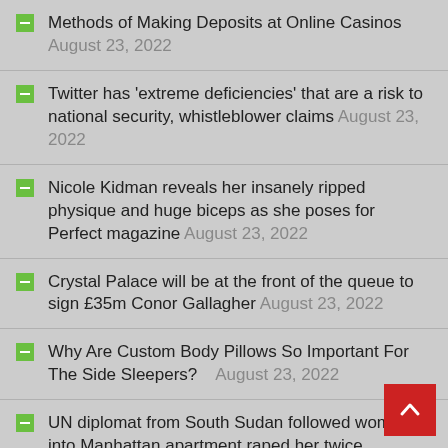Methods of Making Deposits at Online Casinos August 23, 2022
Twitter has 'extreme deficiencies' that are a risk to national security, whistleblower claims August 23, 2022
Nicole Kidman reveals her insanely ripped physique and huge biceps as she poses for Perfect magazine August 23, 2022
Crystal Palace will be at the front of the queue to sign £35m Conor Gallagher August 23, 2022
Why Are Custom Body Pillows So Important For The Side Sleepers? August 23, 2022
UN diplomat from South Sudan followed woman into Manhattan apartment raped her twice released cops August 23, 2022